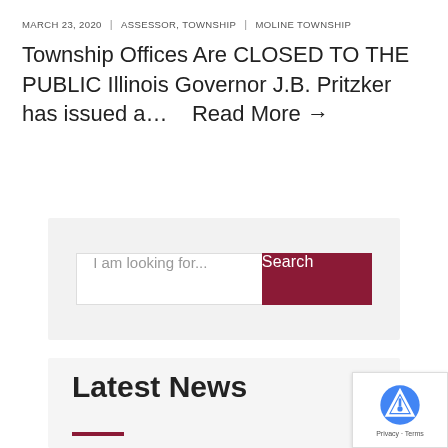MARCH 23, 2020  |  ASSESSOR, TOWNSHIP  |  MOLINE TOWNSHIP
Township Offices Are CLOSED TO THE PUBLIC Illinois Governor J.B. Pritzker has issued a…    Read More →
[Figure (screenshot): Search bar with placeholder text 'I am looking for...' and a dark red 'Search' button]
Latest News